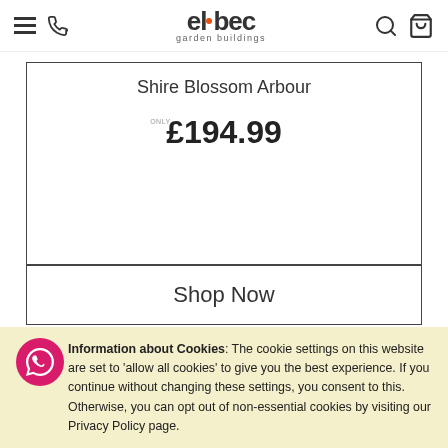elbec garden buildings
Shire Blossom Arbour
ONLY £194.99
Shop Now
Recently Viewed
Information about Cookies: The cookie settings on this website are set to 'allow all cookies' to give you the best experience. If you continue without changing these settings, you consent to this. Otherwise, you can opt out of non-essential cookies by visiting our Privacy Policy page.